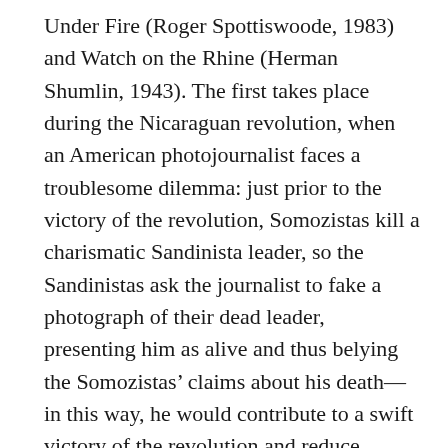Under Fire (Roger Spottiswoode, 1983) and Watch on the Rhine (Herman Shumlin, 1943). The first takes place during the Nicaraguan revolution, when an American photojournalist faces a troublesome dilemma: just prior to the victory of the revolution, Somozistas kill a charismatic Sandinista leader, so the Sandinistas ask the journalist to fake a photograph of their dead leader, presenting him as alive and thus belying the Somozistas' claims about his death—in this way, he would contribute to a swift victory of the revolution and reduce bloodshed. Professional ethics, of course, strictly prohibit such an act, since it violates the unbiased objectivity of reporting and makes the journalist an instrument of the political fight; the journalist nevertheless chooses the 'leftist' option and fakes the picture. In Watch on the Rhine, based on a play by Lillian Hellmann, this dilemma is even more